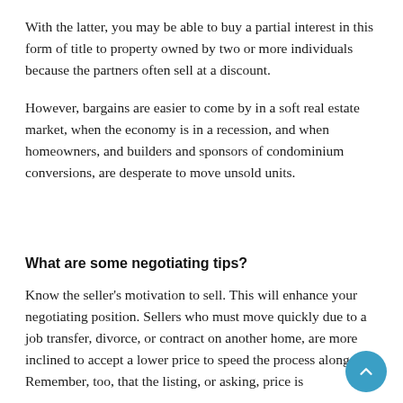With the latter, you may be able to buy a partial interest in this form of title to property owned by two or more individuals because the partners often sell at a discount.
However, bargains are easier to come by in a soft real estate market, when the economy is in a recession, and when homeowners, and builders and sponsors of condominium conversions, are desperate to move unsold units.
What are some negotiating tips?
Know the seller's motivation to sell. This will enhance your negotiating position. Sellers who must move quickly due to a job transfer, divorce, or contract on another home, are more inclined to accept a lower price to speed the process along. Remember, too, that the listing, or asking, price is